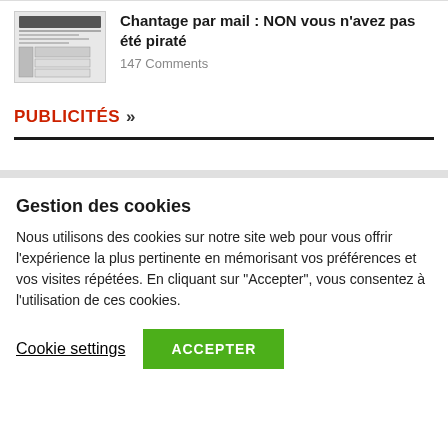[Figure (screenshot): Thumbnail image of an article showing a screenshot of an email interface]
Chantage par mail : NON vous n'avez pas été piraté
147 Comments
PUBLICITÉS »
Gestion des cookies
Nous utilisons des cookies sur notre site web pour vous offrir l'expérience la plus pertinente en mémorisant vos préférences et vos visites répétées. En cliquant sur "Accepter", vous consentez à l'utilisation de ces cookies.
Cookie settings
ACCEPTER